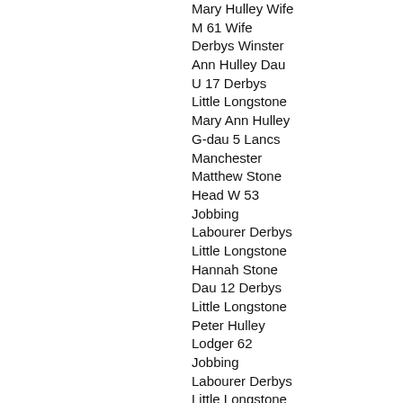Mary Hulley Wife M 61 Wife Derbys Winster Ann Hulley Dau U 17 Derbys Little Longstone Mary Ann Hulley G-dau 5 Lancs Manchester Matthew Stone Head W 53 Jobbing Labourer Derbys Little Longstone Hannah Stone Dau 12 Derbys Little Longstone Peter Hulley Lodger 62 Jobbing Labourer Derbys Little Longstone
1854 10 Jul - married at St Peter and Paul's church Sheffield: Charles Watson 25 Bachelor Mason Eyre St. - father